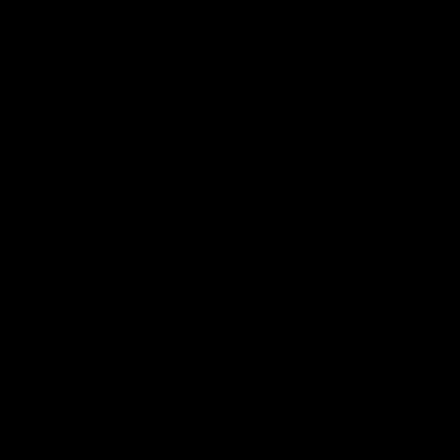[Figure (photo): A completely black image filling the entire page, possibly an underexposed or blank photograph.]